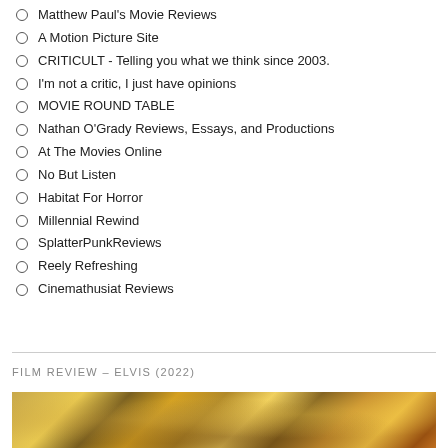Matthew Paul's Movie Reviews
A Motion Picture Site
CRITICULT - Telling you what we think since 2003.
I'm not a critic, I just have opinions
MOVIE ROUND TABLE
Nathan O'Grady Reviews, Essays, and Productions
At The Movies Online
No But Listen
Habitat For Horror
Millennial Rewind
SplatterPunkReviews
Reely Refreshing
Cinemathusiat Reviews
FILM REVIEW – ELVIS (2022)
[Figure (photo): Decorative movie poster image with golden and jeweled tones for Elvis 2022 film review]